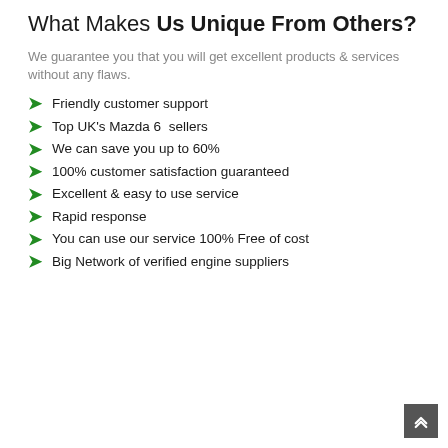What Makes Us Unique From Others?
We guarantee you that you will get excellent products & services without any flaws.
Friendly customer support
Top UK's Mazda 6  sellers
We can save you up to 60%
100% customer satisfaction guaranteed
Excellent & easy to use service
Rapid response
You can use our service 100% Free of cost
Big Network of verified engine suppliers